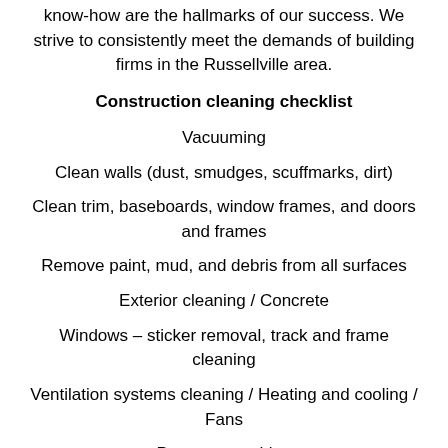know-how are the hallmarks of our success. We strive to consistently meet the demands of building firms in the Russellville area.
Construction cleaning checklist
Vacuuming
Clean walls (dust, smudges, scuffmarks, dirt)
Clean trim, baseboards, window frames, and doors and frames
Remove paint, mud, and debris from all surfaces
Exterior cleaning / Concrete
Windows – sticker removal, track and frame cleaning
Ventilation systems cleaning / Heating and cooling / Fans
Pressure washing